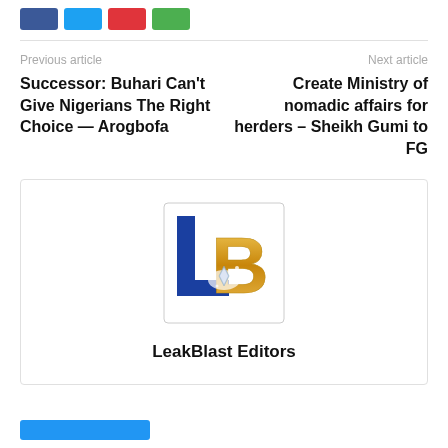[Figure (other): Row of social share buttons: Facebook (blue), Twitter (light blue), Pinterest (red), WhatsApp (green)]
Previous article
Next article
Successor: Buhari Can't Give Nigerians The Right Choice — Arogbofa
Create Ministry of nomadic affairs for herders – Sheikh Gumi to FG
[Figure (logo): LeakBlast logo: stylized blue L and gold B letters with diamond graphic]
LeakBlast Editors